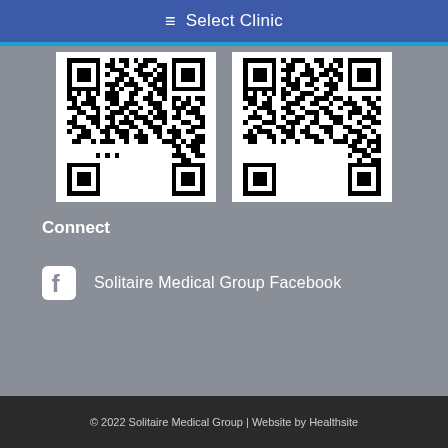≡ Select Clinic
[Figure (other): Two QR codes side by side on white background panels]
Connect
Solitaire Medical Group Facebook
© 2022 Solitaire Medical Group | Website by Healthsite